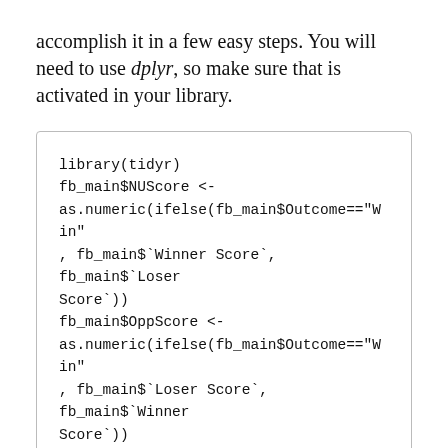accomplish it in a few easy steps. You will need to use dplyr, so make sure that is activated in your library.
library(tidyr)
fb_main$NUScore <-
as.numeric(ifelse(fb_main$Outcome=="Win"
, fb_main$`Winner Score`, fb_main$`Loser Score`))
fb_main$OppScore <-
as.numeric(ifelse(fb_main$Outcome=="Win"
, fb_main$`Loser Score`, fb_main$`Winner Score`))
fb_main <- fb_main[, -c(6:7)]
The first two lines above create the new